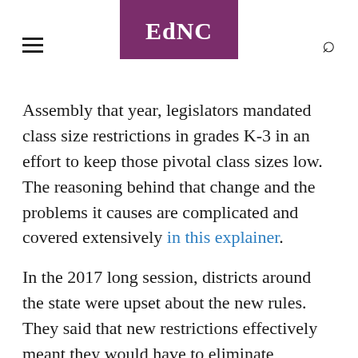EdNC
Assembly that year, legislators mandated class size restrictions in grades K-3 in an effort to keep those pivotal class sizes low. The reasoning behind that change and the problems it causes are complicated and covered extensively in this explainer.
In the 2017 long session, districts around the state were upset about the new rules. They said that new restrictions effectively meant they would have to eliminate extracurricular teachers in subjects like music, art, and physical education. Meanwhile, the increase in